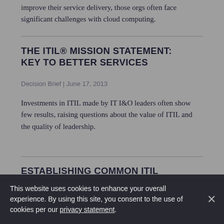improve their service delivery, those orgs often face significant challenges with cloud computing.
THE ITIL® MISSION STATEMENT: KEY TO BETTER SERVICES
Decision Brief | June 17, 2013
Investments in ITIL made by IT I&O leaders often show few results, raising questions about the value of ITIL and the quality of leadership.
ESTABLISHING COMMON ITIL
This website uses cookies to enhance your overall experience. By using this site, you consent to the use of cookies per our privacy statement.